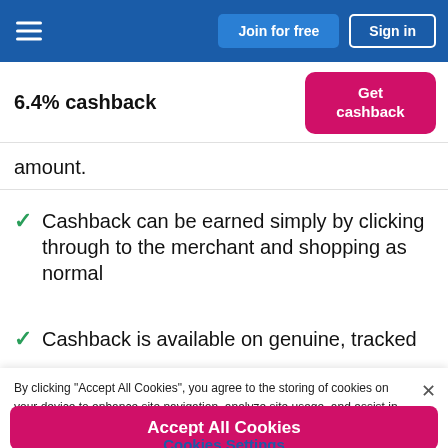Join for free | Sign in
6.4% cashback
amount.
Cashback can be earned simply by clicking through to the merchant and shopping as normal
Cashback is available on genuine, tracked
By clicking "Accept All Cookies", you agree to the storing of cookies on your device to enhance site navigation, analyze site usage, and assist in our marketing efforts. Cookie Policy
Accept All Cookies
Cookies Settings